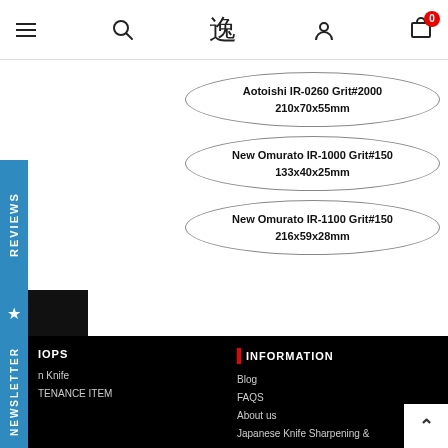Navigation header with menu, search, logo, account, and cart icons
[Figure (other): Three oval/ellipse product labels showing: Aotoishi IR-0260 Grit#2000 210x70x55mm, New Omurato IR-1000 Grit#150 133x40x25mm, New Omurato IR-1100 Grit#150 216x59x28mm]
★ REVIEWS
NEWSLETTER
SHOPS
n Knife
TENANCE ITEM
INFORMATION
Blog
FAQS
About us
Japanese Knife Sharpening &